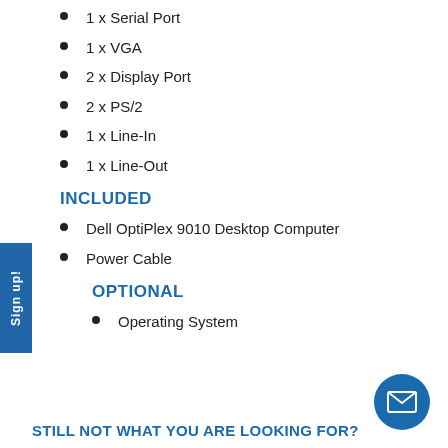1 x Serial Port
1 x VGA
2 x Display Port
2 x PS/2
1 x Line-In
1 x Line-Out
INCLUDED
Dell OptiPlex 9010 Desktop Computer
Power Cable
OPTIONAL
Operating System
STILL NOT WHAT YOU ARE LOOKING FOR?